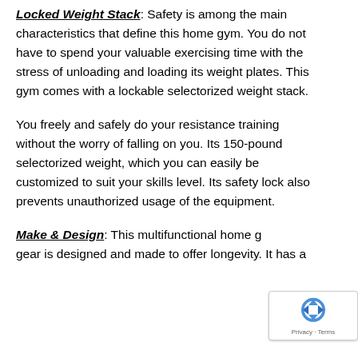Locked Weight Stack: Safety is among the main characteristics that define this home gym. You do not have to spend your valuable exercising time with the stress of unloading and loading its weight plates. This gym comes with a lockable selectorized weight stack.
You freely and safely do your resistance training without the worry of falling on you. Its 150-pound selectorized weight, which you can easily be customized to suit your skills level. Its safety lock also prevents unauthorized usage of the equipment.
Make & Design: This multifunctional home g... gear is designed and made to offer longevity. It has a...